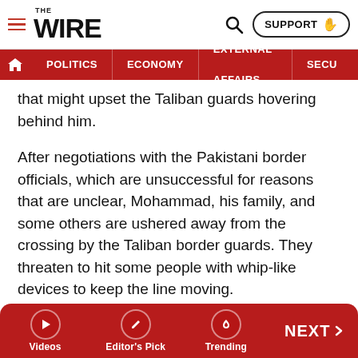THE WIRE — POLITICS | ECONOMY | EXTERNAL AFFAIRS | SECU...
that might upset the Taliban guards hovering behind him.
After negotiations with the Pakistani border officials, which are unsuccessful for reasons that are unclear, Mohammad, his family, and some others are ushered away from the crossing by the Taliban border guards. They threaten to hit some people with whip-like devices to keep the line moving.
Another family does manage to get through. A girl in a wheelchair crosses into Pakistan as Mohammad and his wife and children disappear back into the crowd on the Afghan side.
Videos | Editor's Pick | Trending | NEXT >